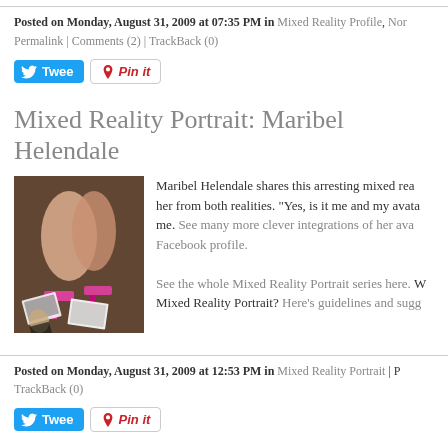Posted on Monday, August 31, 2009 at 07:35 PM in Mixed Reality Profile, Nor
Permalink | Comments (2) | TrackBack (0)
[Figure (other): Tweet button and Pin it button]
Mixed Reality Portrait: Maribel Helendale
[Figure (photo): Photo of woman's legs in pink heels standing over printed photos on a wooden floor]
Maribel Helendale shares this arresting mixed rea... her from both realities. "Yes, is it me and my avata... me. See many more clever integrations of her ava... Facebook profile.
See the whole Mixed Reality Portrait series here. W... Mixed Reality Portrait? Here's guidelines and sugg...
Posted on Monday, August 31, 2009 at 12:53 PM in Mixed Reality Portrait | P
TrackBack (0)
[Figure (other): Tweet button and Pin it button]